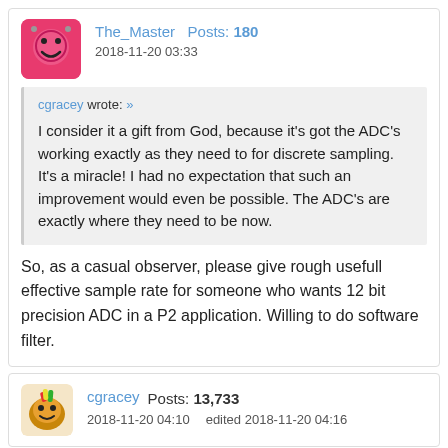The_Master  Posts: 180
2018-11-20 03:33
cgracey wrote: »
I consider it a gift from God, because it's got the ADC's working exactly as they need to for discrete sampling. It's a miracle! I had no expectation that such an improvement would even be possible. The ADC's are exactly where they need to be now.
So, as a casual observer, please give rough usefull effective sample rate for someone who wants 12 bit precision ADC in a P2 application. Willing to do software filter.
cgracey  Posts: 13,733
2018-11-20 04:10   edited 2018-11-20 04:16